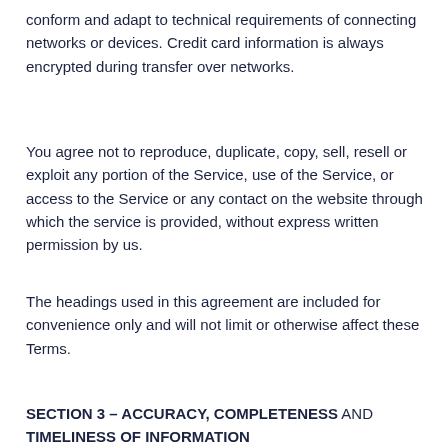conform and adapt to technical requirements of connecting networks or devices. Credit card information is always encrypted during transfer over networks.
You agree not to reproduce, duplicate, copy, sell, resell or exploit any portion of the Service, use of the Service, or access to the Service or any contact on the website through which the service is provided, without express written permission by us.
The headings used in this agreement are included for convenience only and will not limit or otherwise affect these Terms.
SECTION 3 – ACCURACY, COMPLETENESS AND TIMELINESS OF INFORMATION